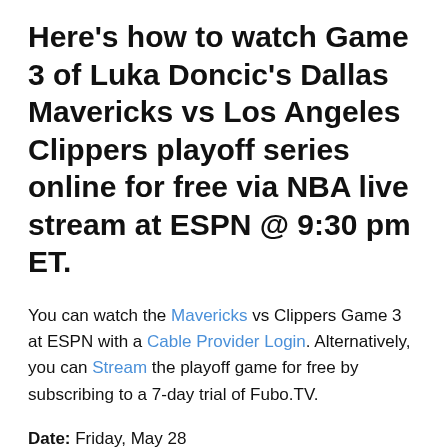Here's how to watch Game 3 of Luka Doncic's Dallas Mavericks vs Los Angeles Clippers playoff series online for free via NBA live stream at ESPN @ 9:30 pm ET.
You can watch the Mavericks vs Clippers Game 3 at ESPN with a Cable Provider Login. Alternatively, you can Stream the playoff game for free by subscribing to a 7-day trial of Fubo.TV.
Date: Friday, May 28
Start Time: 9:30 p.m. ET